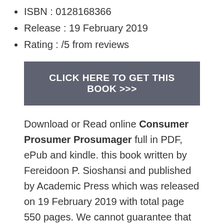ISBN : 0128168366
Release : 19 February 2019
Rating : /5 from reviews
CLICK HERE TO GET THIS BOOK >>>
Download or Read online Consumer Prosumer Prosumager full in PDF, ePub and kindle. this book written by Fereidoon P. Sioshansi and published by Academic Press which was released on 19 February 2019 with total page 550 pages. We cannot guarantee that Consumer Prosumer Prosumager book is available in the library, click Get Book button and read full online book in your kindle, tablet, IPAD, PC or mobile whenever and wherever You Like